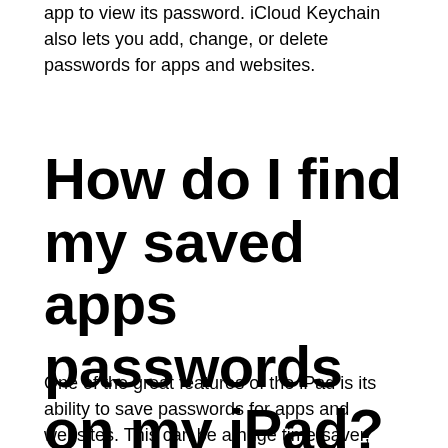app to view its password. iCloud Keychain also lets you add, change, or delete passwords for apps and websites.
How do I find my saved apps passwords on my iPad?
One of the great features of the iPad is its ability to save passwords for apps and websites. This can be a huge time-saver, especially if you have a lot of different